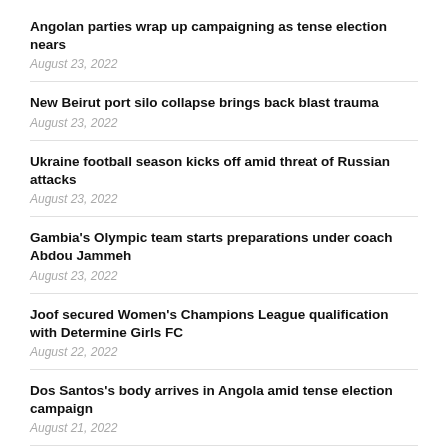Angolan parties wrap up campaigning as tense election nears
August 23, 2022
New Beirut port silo collapse brings back blast trauma
August 23, 2022
Ukraine football season kicks off amid threat of Russian attacks
August 23, 2022
Gambia's Olympic team starts preparations under coach Abdou Jammeh
August 23, 2022
Joof secured Women's Champions League qualification with Determine Girls FC
August 22, 2022
Dos Santos's body arrives in Angola amid tense election campaign
August 21, 2022